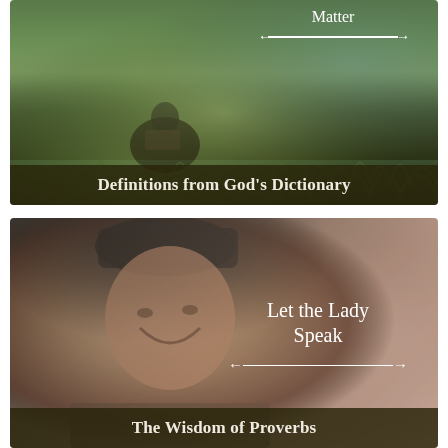[Figure (photo): Man sitting in a grassy field reading a book outdoors, with hills/ocean in background. Text overlay 'Matter' at top with a double-headed arrow beneath it, and 'Definitions from God's Dictionary' on a dark strip at the bottom of the image.]
[Figure (photo): Elderly Asian woman smiling and laughing, wearing a knit hat and colorful clothing, with a warm blurred background. Text overlay 'Let the Lady Speak' with a double-headed arrow beneath it, and 'The Wisdom of Proverbs' on a dark strip at the bottom.]